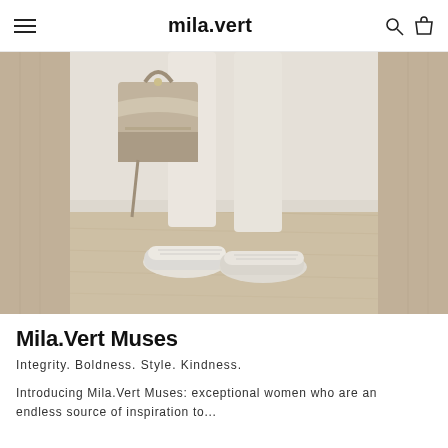mila.vert
[Figure (photo): Fashion photo showing lower body of a person wearing white cropped trousers and white sneakers, holding a beige/brown leather bucket bag, standing on light wood flooring near a white baseboard wall with wooden panels on either side.]
Mila.Vert Muses
Integrity. Boldness. Style. Kindness.
Introducing Mila.Vert Muses: exceptional women who are an endless source of inspiration to...